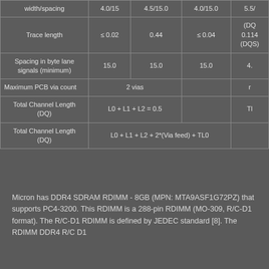|  | Col1 | Col2 | Col3 | Col4 |
| --- | --- | --- | --- | --- |
| width/spacing | 4.0/15 | 4.5/15.0 | 4.0/15.0 | 5.5/... |
| Trace length | ≤ 0.02 | 0.44 | ≤ 0.04 | (DQ) 0.114 (DQS) |
| Spacing in byte lane signals (minimum) | 15.0 | 15.0 | 15.0 | 4. |
| Maximum PCB via count | 2 vias |  |  | r |
| Total Channel Length (DQ) | L0 + L1 + L2 = 0.5 |  |  | TL |
| Total Channel Length (DQ) | L0 + L1 + L2 + 2*(Via feed) + TL0 |  |  |  |
Micron has DDR4 SDRAM RDIMM - 8GB (MPN: MTA9ASF1G72PZ) that supports PC4-3200. This RDIMM is a 288-pin RDIMM (MO-309, R/C-D1 format). The R/C-D1 RDIMM is defined by JEDEC standard [8]. The RDIMM DDR4 R/C D1